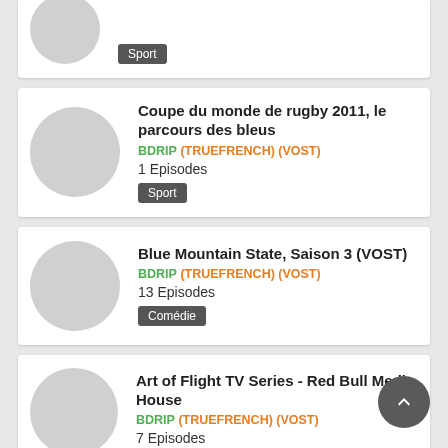Sport (partial card top)
Coupe du monde de rugby 2011, le parcours des bleus — BDRIP (TRUEFRENCH) (VOST) — 1 Episodes — Sport
Blue Mountain State, Saison 3 (VOST) — BDRIP (TRUEFRENCH) (VOST) — 13 Episodes — Comédie
Art of Flight TV Series - Red Bull Media House — BDRIP (TRUEFRENCH) (VOST) — 7 Episodes